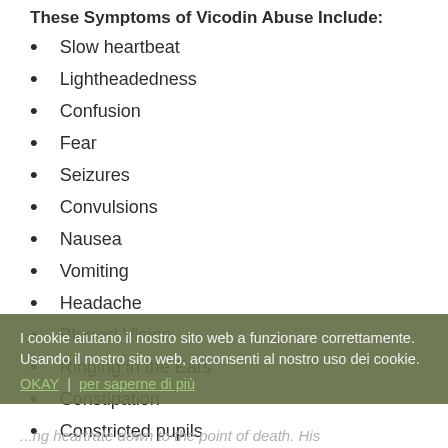These Symptoms of Vicodin Abuse Include:
Slow heartbeat
Lightheadedness
Confusion
Fear
Seizures
Convulsions
Nausea
Vomiting
Headache
Blurred Vision
Ringing in the Ears
Constipation
Constricted pupils
I cookie aiutano il nostro sito web a funzionare correttamente. Usando il nostro sito web, acconsenti al nostro uso dei cookie. OKAY | per saperne di più
...ng heartrate down to the point of death. His